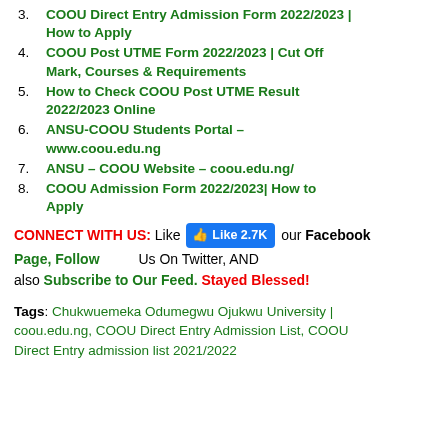3. COOU Direct Entry Admission Form 2022/2023 | How to Apply
4. COOU Post UTME Form 2022/2023 | Cut Off Mark, Courses & Requirements
5. How to Check COOU Post UTME Result 2022/2023 Online
6. ANSU-COOU Students Portal – www.coou.edu.ng
7. ANSU – COOU Website – coou.edu.ng/
8. COOU Admission Form 2022/2023| How to Apply
CONNECT WITH US: Like [Like 2.7K] our Facebook Page, Follow [Twitter] Us On Twitter, AND also Subscribe to Our Feed. Stayed Blessed!
Tags: Chukwuemeka Odumegwu Ojukwu University | coou.edu.ng, COOU Direct Entry Admission List, COOU Direct Entry admission list 2021/2022